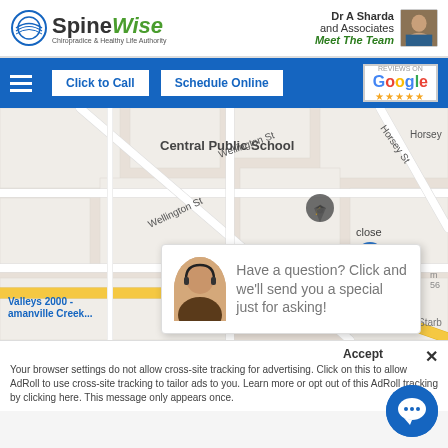[Figure (screenshot): SpineWise website header with logo, Dr A Sharda and Associates info, Meet The Team link, and navigation bar with Click to Call, Schedule Online, and Google review badge buttons]
[Figure (map): Google Maps showing area around Central Public School with Wellington St, Horsey St, Valleys 2000, and location marker]
Have a question? Click and we'll send you a special just for asking!
close
Accept
Your browser settings do not allow cross-site tracking for advertising. Click on this to allow AdRoll to use cross-site tracking to tailor ads to you. Learn more or opt out of this AdRoll tracking by clicking here. This message only appears once.